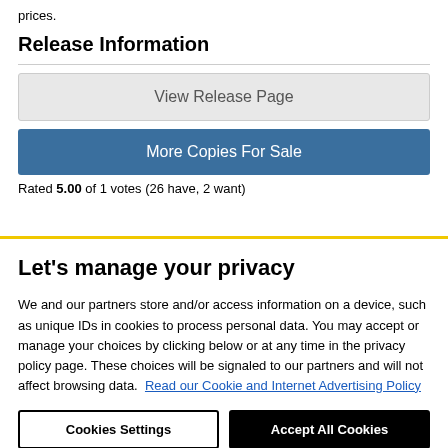prices.
Release Information
View Release Page
More Copies For Sale
Rated 5.00 of 1 votes (26 have, 2 want)
Let's manage your privacy
We and our partners store and/or access information on a device, such as unique IDs in cookies to process personal data. You may accept or manage your choices by clicking below or at any time in the privacy policy page. These choices will be signaled to our partners and will not affect browsing data.  Read our Cookie and Internet Advertising Policy
Cookies Settings
Accept All Cookies